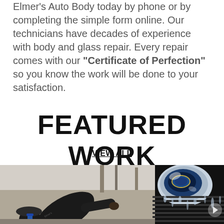Elmer's Auto Body today by phone or by completing the simple form online. Our technicians have decades of experience with body and glass repair. Every repair comes with our "Certificate of Perfection" so you know the work will be done to your satisfaction.
FEATURED WORK
VIEW ALL
[Figure (photo): A technician in a black shirt bending over to inspect or clean the front grille and headlight area of a dark-colored vehicle in an auto body shop.]